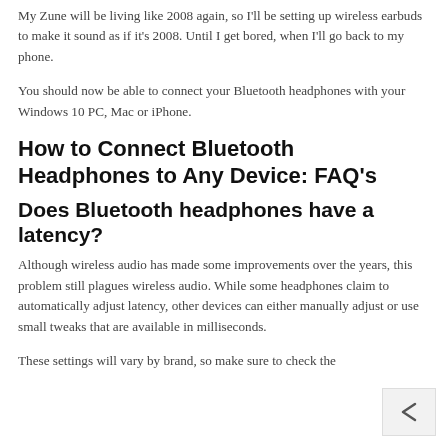My Zune will be living like 2008 again, so I'll be setting up wireless earbuds to make it sound as if it's 2008. Until I get bored, when I'll go back to my phone.
You should now be able to connect your Bluetooth headphones with your Windows 10 PC, Mac or iPhone.
How to Connect Bluetooth Headphones to Any Device: FAQ's
Does Bluetooth headphones have a latency?
Although wireless audio has made some improvements over the years, this problem still plagues wireless audio. While some headphones claim to automatically adjust latency, other devices can either manually adjust or use small tweaks that are available in milliseconds.
These settings will vary by brand, so make sure to check the